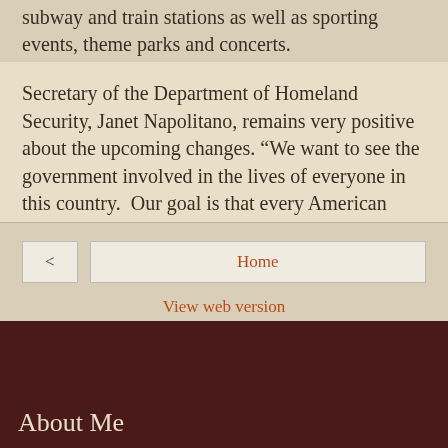subway and train stations as well as sporting events, theme parks and concerts.
Secretary of the Department of Homeland Security, Janet Napolitano, remains very positive about the upcoming changes. “We want to see the government involved in the lives of everyone in this country.  Our goal is that every American receive both security and basic health screening.  It may begin with travel security at the airport, but we won’t stop until we can provide the same level of care for every citizen whether they travel or not.”
DrDad at 10:30 PM    No comments:
Share
< Home
View web version
About Me